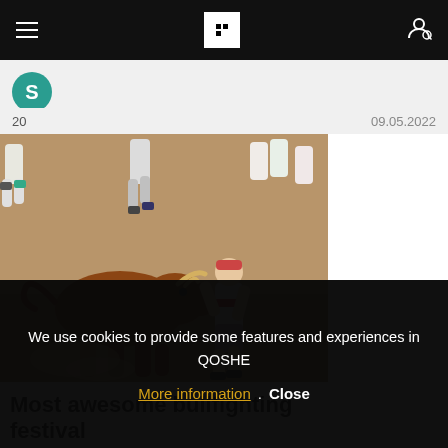Flipboard navigation bar with hamburger menu, Flipboard logo, and user icon
[Figure (logo): Source icon: teal circle with letter S]
20    09.05.2022
[Figure (photo): Photo of a bull chasing a runner during a bullfighting festival, with other runners in the background on a dirt ground]
Most awesome bullfighting festival
We use cookies to provide some features and experiences in QOSHE
More information . Close